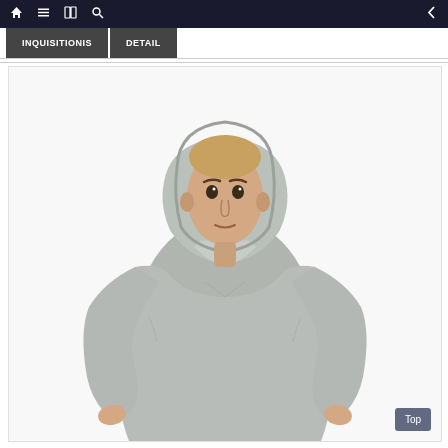Navigation bar with home, menu, book, search icons and back arrow
INQUISITIONIS | DETAIL
[Figure (photo): A muscular man wearing a plain light gray fitted long-sleeve hoodie (hooded sweatshirt with V-neck hood opening), photographed against a white background, front view, hands at sides.]
Top